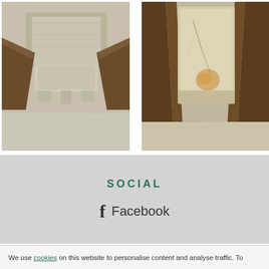[Figure (photo): Close-up photo of a stone block or capital supported by wooden beams, viewed from below, showing a flat grey stone resting on angled dark timber supports against a light background.]
[Figure (photo): Close-up photo of a rough rectangular stone block held between dark wooden/metal supports, with visible cracks and discoloration on the stone surface.]
SOCIAL
Facebook
We use cookies on this website to personalise content and analyse traffic. To